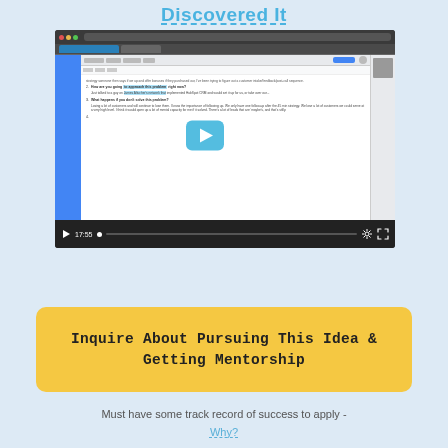Discovered It
[Figure (screenshot): Screenshot of a video player showing a Google Docs document with interview/questionnaire text, with a play button overlay and video controls showing timestamp 17:55]
[Figure (other): Yellow call-to-action button with text 'Inquire About Pursuing This Idea & Getting Mentorship']
Must have some track record of success to apply - Why?